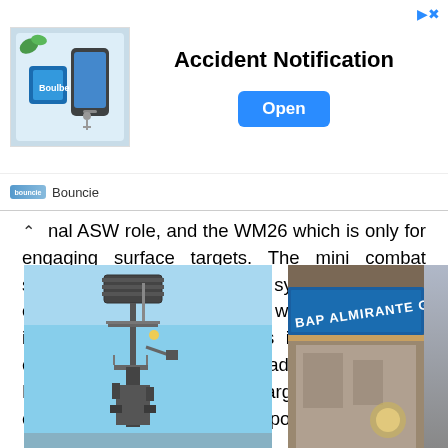[Figure (screenshot): Advertisement banner for Bouncie Accident Notification app with product image, Open button, and Bouncie logo]
nal ASW role, and the WM26 which is only for engaging surface targets. The mini combat system is a fast reacting system, including certain data handling facilities which are of great importance during operations in a multi-target environment. Its high-quality radar, provided with ECCM features, guarantees target detection and engagement at maximum weapon range.
[Figure (photo): Radar/communications tower on a naval vessel against a blue sky]
[Figure (photo): Ship nameplate reading BAP ALMIRANTE GRAU on a naval vessel]